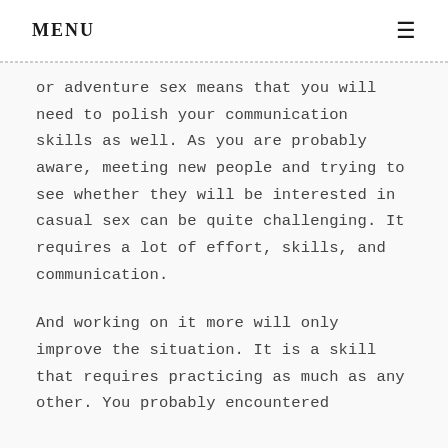MENU
or adventure sex means that you will need to polish your communication skills as well. As you are probably aware, meeting new people and trying to see whether they will be interested in casual sex can be quite challenging. It requires a lot of effort, skills, and communication.
And working on it more will only improve the situation. It is a skill that requires practicing as much as any other. You probably encountered